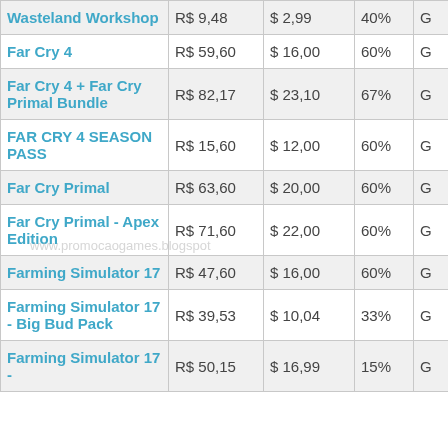| Game | R$ | $ | % | G | Type |
| --- | --- | --- | --- | --- | --- |
| Wasteland Workshop | R$ 9,48 | $ 2,99 | 40% | G | DLC |
| Far Cry 4 | R$ 59,60 | $ 16,00 | 60% | G |  |
| Far Cry 4 + Far Cry Primal Bundle | R$ 82,17 | $ 23,10 | 67% | G |  |
| FAR CRY 4 SEASON PASS | R$ 15,60 | $ 12,00 | 60% | G | DLC |
| Far Cry Primal | R$ 63,60 | $ 20,00 | 60% | G |  |
| Far Cry Primal - Apex Edition | R$ 71,60 | $ 22,00 | 60% | G | jogo + DLC |
| Farming Simulator 17 | R$ 47,60 | $ 16,00 | 60% | G |  |
| Farming Simulator 17 - Big Bud Pack | R$ 39,53 | $ 10,04 | 33% | G | DLC |
| Farming Simulator 17 - | R$ 50,15 | $ 16,99 | 15% | G | DLC |